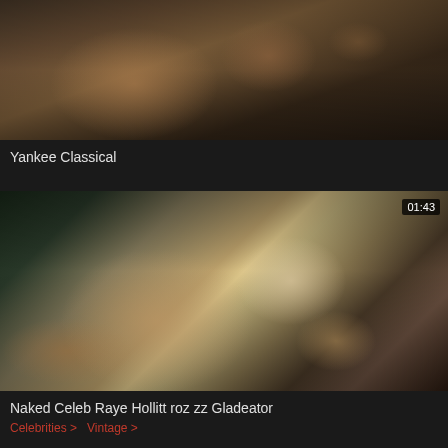[Figure (screenshot): Video thumbnail showing blurry scene with warm tones]
Yankee Classical
[Figure (screenshot): Video thumbnail with duration badge 01:43, showing bright scene with blonde figures]
Naked Celeb Raye Hollitt roz zz Gladeator
Celebrities > Vintage >